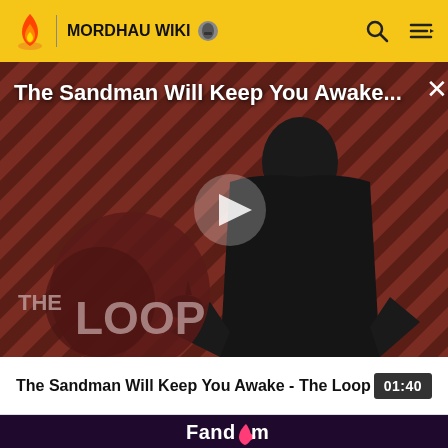MORDHAU WIKI
[Figure (screenshot): Video thumbnail for 'The Sandman Will Keep You Awake - The Loop' showing a man in dark clothing against a red and black diagonal stripe background with 'THE LOOP' text logo and a play button overlay]
The Sandman Will Keep You Awake - The Loop
01:40
[Figure (logo): Fandom logo in white and pink/magenta on dark purple background]